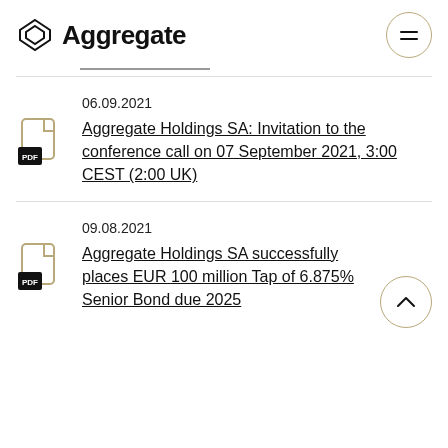Aggregate
06.09.2021
Aggregate Holdings SA: Invitation to the conference call on 07 September 2021, 3:00 CEST (2:00 UK)
09.08.2021
Aggregate Holdings SA successfully places EUR 100 million Tap of 6.875% Senior Bond due 2025